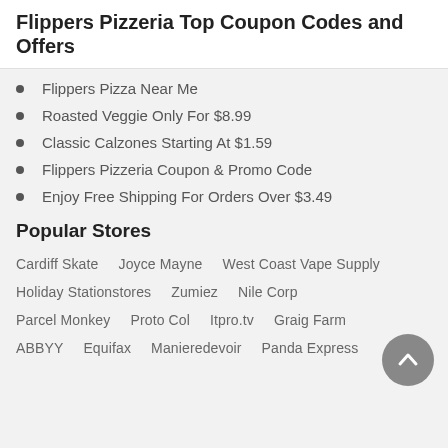Flippers Pizzeria Top Coupon Codes and Offers
Flippers Pizza Near Me
Roasted Veggie Only For $8.99
Classic Calzones Starting At $1.59
Flippers Pizzeria Coupon & Promo Code
Enjoy Free Shipping For Orders Over $3.49
Popular Stores
Cardiff Skate   Joyce Mayne   West Coast Vape Supply
Holiday Stationstores   Zumiez   Nile Corp
Parcel Monkey   Proto Col   Itpro.tv   Graig Farm
ABBYY   Equifax   Manieredevoir   Panda Express